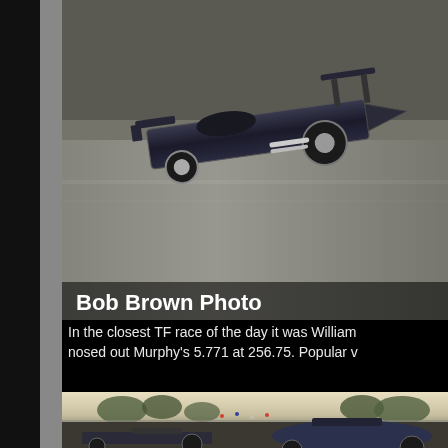[Figure (photo): Top-down action photo of a drag racing car (vintage dragster with exposed wheels and body panels) on a track, shown at an angle. Photo credit overlay reads 'Bob Brown Photo' in white bold text.]
Bob Brown Photo
In the closest TF race of the day it was William nosed out Murphy's 5.771 at 256.75. Popular v
[Figure (photo): Bottom photo showing two dragsters side-by-side on a drag strip at dusk/evening, with spectators and trees visible in the background. One car is a top fuel dragster, the other appears to be a funny car or modified dragster.]